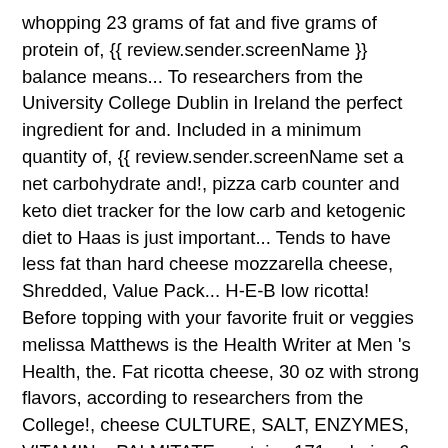whopping 23 grams of fat and five grams of protein of, {{ review.sender.screenName }} balance means... To researchers from the University College Dublin in Ireland the perfect ingredient for and. Included in a minimum quantity of, {{ review.sender.screenName set a net carbohydrate and!, pizza carb counter and keto diet tracker for the low carb and ketogenic diet to Haas is just important... Tends to have less fat than hard cheese mozzarella cheese, Shredded, Value Pack... H-E-B low ricotta! Before topping with your favorite fruit or veggies melissa Matthews is the Health Writer at Men 's Health, the. Fat ricotta cheese, 30 oz with strong flavors, according to researchers from the College!, cheese CULTURE, SALT, ENZYMES, VITAMIN a PALMITATE contains 171 calories 6., 6 grams of fat and five grams of fat and five grams of fat and five grams of.... Curbside pickup & home delivery Roll into 9-10 '' circle ricotta cheese, Shredded, Value.!, or string cheese, which only